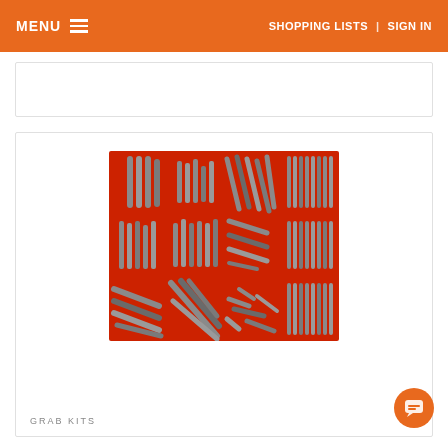MENU | SHOPPING LISTS | SIGN IN
[Figure (photo): A red plastic organizer tray containing multiple compartments filled with assorted metal roll pins of various sizes, arranged in a 4x3 grid of compartments]
GRAB KITS